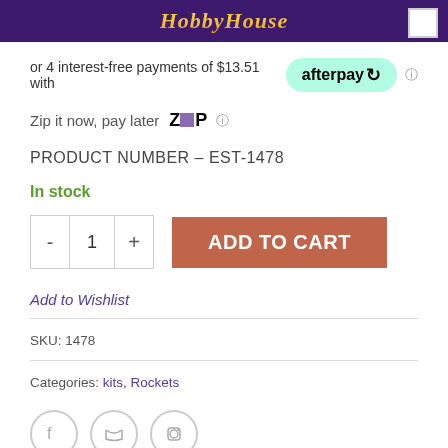HobbyHouse
or 4 interest-free payments of $13.51 with afterpay
Zip it now, pay later  Zip
PRODUCT NUMBER – EST-1478
In stock
ADD TO CART
Add to Wishlist
SKU: 1478
Categories: kits, Rockets